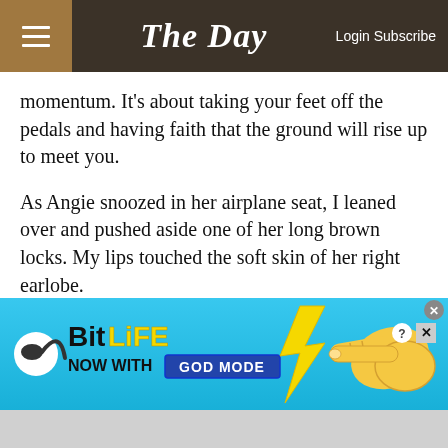The Day — Login Subscribe
momentum. It's about taking your feet off the pedals and having faith that the ground will rise up to meet you.
As Angie snoozed in her airplane seat, I leaned over and pushed aside one of her long brown locks. My lips touched the soft skin of her right earlobe.
“Woo hoo,” I whispered. “We’re doing it.”
~~~
If you have some writing that you'd like to share with Grace readers, contact the editor at f.trafford@theday.com or
[Figure (screenshot): BitLife advertisement banner — 'BitLife NOW WITH GOD MODE' on a blue background with cartoon hand pointing and lightning bolt graphic.]